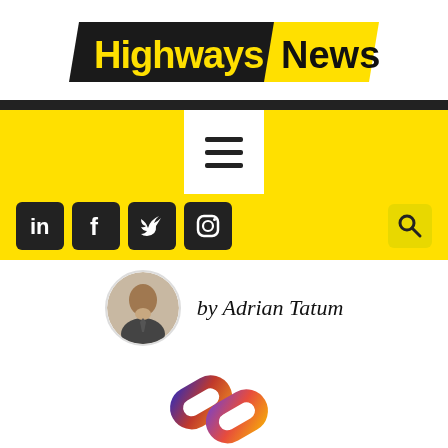[Figure (logo): Highways News logo: black parallelogram with 'Highways' in bold yellow text, yellow parallelogram with 'News' in bold black text]
[Figure (other): Hamburger menu icon (three horizontal lines) inside a white square, on yellow background]
[Figure (other): Social media icons row: LinkedIn, Facebook, Twitter, Instagram (white icons on black rounded squares), and a search icon on the right]
[Figure (photo): Circular author headshot of Adrian Tatum, a man in a suit]
by Adrian Tatum
[Figure (logo): A chain-link logo with gradient colors from purple/blue at top to orange/red at bottom]
Cha...